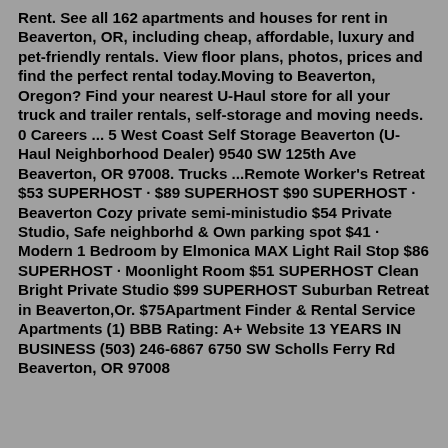Rent. See all 162 apartments and houses for rent in Beaverton, OR, including cheap, affordable, luxury and pet-friendly rentals. View floor plans, photos, prices and find the perfect rental today.Moving to Beaverton, Oregon? Find your nearest U-Haul store for all your truck and trailer rentals, self-storage and moving needs. 0 Careers ... 5 West Coast Self Storage Beaverton (U-Haul Neighborhood Dealer) 9540 SW 125th Ave Beaverton, OR 97008. Trucks ...Remote Worker's Retreat $53 SUPERHOST · $89 SUPERHOST $90 SUPERHOST · Beaverton Cozy private semi-ministudio $54 Private Studio, Safe neighborhd & Own parking spot $41 · Modern 1 Bedroom by Elmonica MAX Light Rail Stop $86 SUPERHOST · Moonlight Room $51 SUPERHOST Clean Bright Private Studio $99 SUPERHOST Suburban Retreat in Beaverton,Or. $75Apartment Finder & Rental Service Apartments (1) BBB Rating: A+ Website 13 YEARS IN BUSINESS (503) 246-6867 6750 SW Scholls Ferry Rd Beaverton, OR 97008